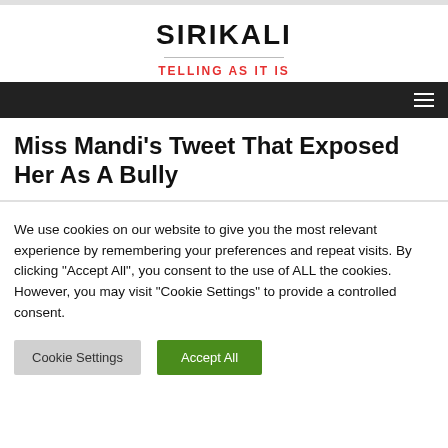SIRIKALI
TELLING AS IT IS
Miss Mandi's Tweet That Exposed Her As A Bully
We use cookies on our website to give you the most relevant experience by remembering your preferences and repeat visits. By clicking "Accept All", you consent to the use of ALL the cookies. However, you may visit "Cookie Settings" to provide a controlled consent.